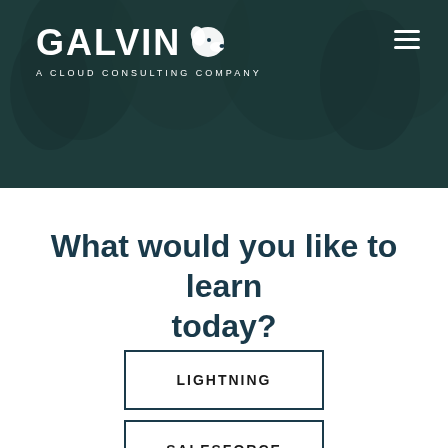[Figure (logo): Galvin - A Cloud Consulting Company logo with dog silhouette, white text on dark teal/forest background with trees]
What would you like to learn today?
LIGHTNING
SALESFORCE